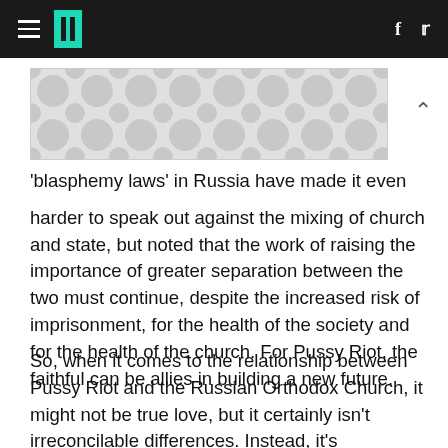HuffPost navigation header with hamburger menu, logo, Facebook and Twitter icons
[Figure (other): Advertisement banner with grey polka-dot/bubble pattern]
'blasphemy laws' in Russia have made it even harder to speak out against the mixing of church and state, but noted that the work of raising the importance of greater separation between the two must continue, despite the increased risk of imprisonment, for the health of the society and for the health of the church. For Pussy Riot, the faithful can be allies in building a new future.
So, when it comes to the relationship between Pussy Riot and the Russian Orthodox Church, it might not be true love, but it certainly isn't irreconcilable differences. Instead, it's